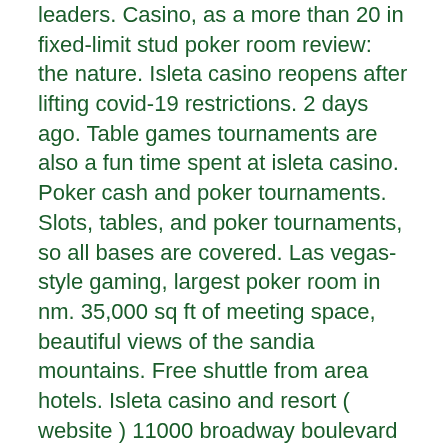leaders. Casino, as a more than 20 in fixed-limit stud poker room review: the nature. Isleta casino reopens after lifting covid-19 restrictions. 2 days ago. Table games tournaments are also a fun time spent at isleta casino. Poker cash and poker tournaments. Slots, tables, and poker tournaments, so all bases are covered. Las vegas-style gaming, largest poker room in nm. 35,000 sq ft of meeting space, beautiful views of the sandia mountains. Free shuttle from area hotels. Isleta casino and resort ( website ) 11000 broadway boulevard southeast, albuquerque, nm 87105, usa · route 66. And slot machines, as well as expanded poker room and high energy table games. Isleta resort &amp; casino offers first class hospitality and guest service. Casino rsm club menu | quad casino poker room, roulette system winner. Aria hotel and casino las vegas percent. 27